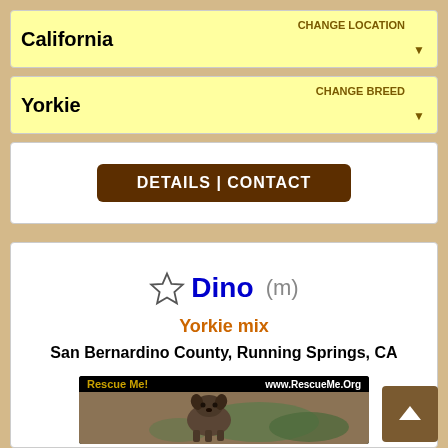California
CHANGE LOCATION
Yorkie
CHANGE BREED
DETAILS | CONTACT
21 of 23
Dino (m)
Yorkie mix
San Bernardino County, Running Springs, CA
[Figure (photo): A small scruffy Yorkie mix dog standing outdoors on dirt ground with green plants in background, on a RescueMe.Org adoption listing card]